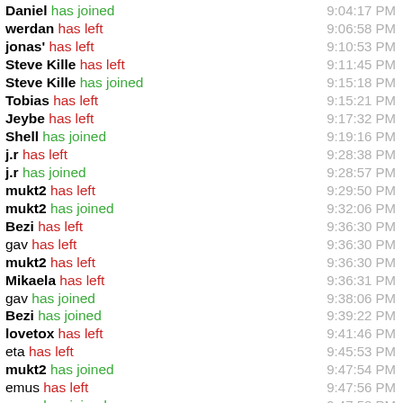Daniel has joined 9:04:17 PM
werdan has left 9:06:58 PM
jonas' has left 9:10:53 PM
Steve Kille has left 9:11:45 PM
Steve Kille has joined 9:15:18 PM
Tobias has left 9:15:21 PM
Jeybe has left 9:17:32 PM
Shell has joined 9:19:16 PM
j.r has left 9:28:38 PM
j.r has joined 9:28:57 PM
mukt2 has left 9:29:50 PM
mukt2 has joined 9:32:06 PM
Bezi has left 9:36:30 PM
gav has left 9:36:30 PM
mukt2 has left 9:36:30 PM
Mikaela has left 9:36:31 PM
gav has joined 9:38:06 PM
Bezi has joined 9:39:22 PM
lovetox has left 9:41:46 PM
eta has left 9:45:53 PM
mukt2 has joined 9:47:54 PM
emus has left 9:47:56 PM
emus has joined 9:47:58 PM
calvin has left 9:54:48 PM
Shell has left 9:55:02 PM
Shell has joined (partial)